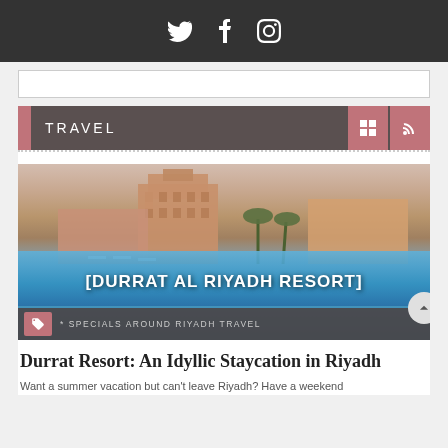Social icons: Twitter, Facebook, Instagram
TRAVEL
[Figure (photo): Durrat Al Riyadh Resort exterior with swimming pool in foreground, large hotel building behind, palm trees visible. Text overlay reads [DURRAT AL RIYADH RESORT]. Tag bar at bottom shows: * SPECIALS  AROUND RIYADH  TRAVEL]
Durrat Resort: An Idyllic Staycation in Riyadh
Want a summer vacation but can't leave Riyadh? Have a weekend